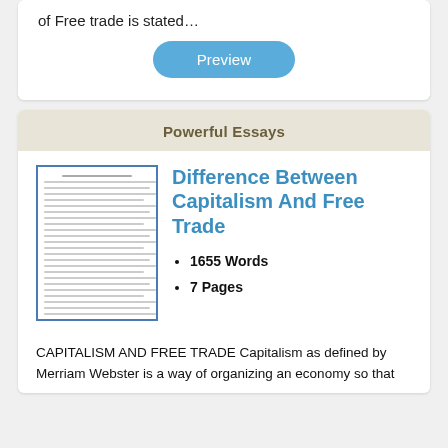of Free trade is stated…
Preview
Powerful Essays
Difference Between Capitalism And Free Trade
1655 Words
7 Pages
CAPITALISM AND FREE TRADE Capitalism as defined by Merriam Webster is a way of organizing an economy so that